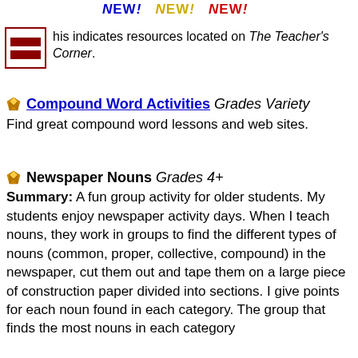NEW! NEW! NEW!
This indicates resources located on The Teacher's Corner.
Compound Word Activities Grades Variety
Find great compound word lessons and web sites.
Newspaper Nouns Grades 4+
Summary: A fun group activity for older students. My students enjoy newspaper activity days. When I teach nouns, they work in groups to find the different types of nouns (common, proper, collective, compound) in the newspaper, cut them out and tape them on a large piece of construction paper divided into sections. I give points for each noun found in each category. The group that finds the most nouns in each category